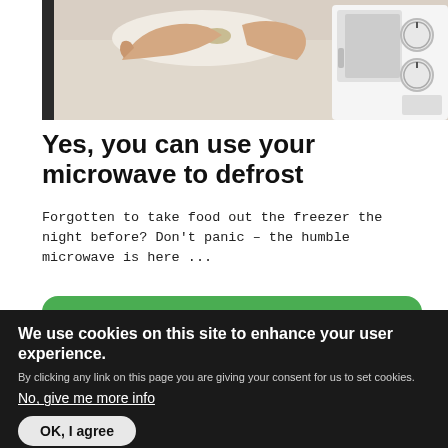[Figure (photo): Person placing food into a microwave oven, top-down view of hands and microwave appliance on a countertop]
Yes, you can use your microwave to defrost
Forgotten to take food out the freezer the night before? Don't panic – the humble microwave is here ...
We use cookies on this site to enhance your user experience.
By clicking any link on this page you are giving your consent for us to set cookies.
No, give me more info
OK, I agree